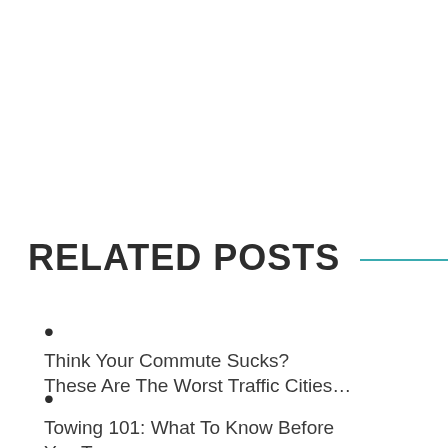RELATED POSTS
Think Your Commute Sucks? These Are The Worst Traffic Cities…
Towing 101: What To Know Before You Tow